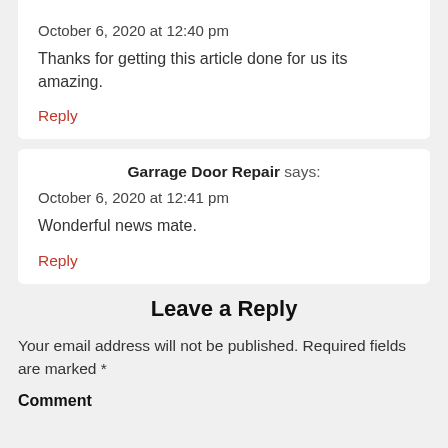October 6, 2020 at 12:40 pm
Thanks for getting this article done for us its amazing.
Reply
Garrage Door Repair says:
October 6, 2020 at 12:41 pm
Wonderful news mate.
Reply
Leave a Reply
Your email address will not be published. Required fields are marked *
Comment